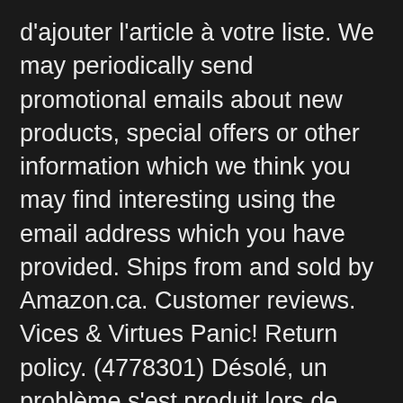d'ajouter l'article à votre liste. We may periodically send promotional emails about new products, special offers or other information which we think you may find interesting using the email address which you have provided. Ships from and sold by Amazon.ca. Customer reviews. Vices & Virtues Panic! Return policy. (4778301) Désolé, un problème s'est produit lors de l'enregistrement de vos préférences en matière de cookies. Details. Amazon.fr : Achetez Vices & Virtues au meilleur prix. Guest shoppers get 15 days to return or exchange this item. Hurricane Lyrics. AutoRip is available only for eligible CDs and vinyl sold by Amazon EU Sarl (but does not apply to gift orders or PrimeNow orders). This is a necklace featuring album art of the "Vices & Virtues" record by Panic at the Disco in a silvertone metal setting with glass. Vinyl release of Panic At The Disco - Vices & Virtues. July 2020. ... At The Disco sur Amazon Music. The first payment may be due at the time of purchase. Livraison